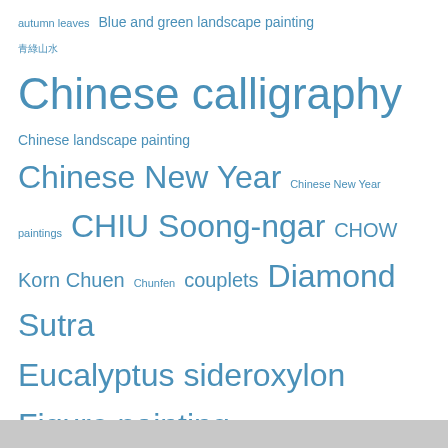[Figure (infographic): Tag cloud with various terms related to Chinese art, calligraphy, festivals, and culture. Terms vary in font size indicating frequency/importance. All text is in blue color on white background. Terms include: autumn leaves, Blue and green landscape painting, Chinese calligraphy (largest), Chinese landscape painting, Chinese New Year, Chinese New Year paintings, CHIU Soong-ngar, CHOW Korn Chuen, Chunfen, couplets, Diamond Sutra, Eucalyptus sideroxylon, Figure painting, ghost money, Hanshi Tie, Chinese characters, Huang Chunpi, Ip Chit Hoo, Joss paper, Lantern Festival, Li Fenggong, Li Yanshan, paper models for the decreased, pomo, Qingming Festival, renri, Sung Dynasty, Su Shi, Chinese character, Tai Shan, Tomb Sweeping Festival, vernal equinox, WONG Wai Cheong, Zhang Daquian, and various Chinese characters.]